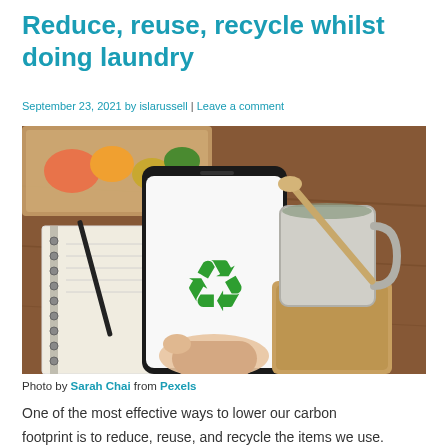Reduce, reuse, recycle whilst doing laundry
September 23, 2021 by islarussell | Leave a comment
[Figure (photo): A hand holding a smartphone displaying a green recycling symbol on a white screen. In the background, a white mug with a wooden spoon, a spiral notebook, and a container of food items on a wooden table.]
Photo by Sarah Chai from Pexels
One of the most effective ways to lower our carbon footprint is to reduce, reuse, and recycle the items we use.